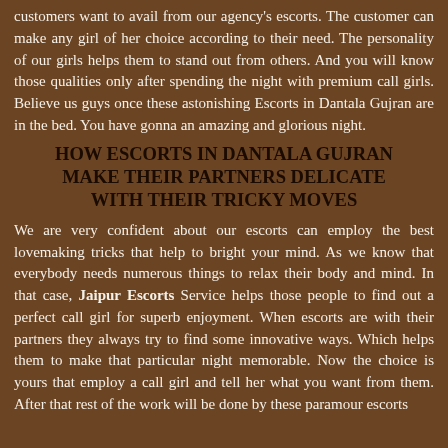customers want to avail from our agency's escorts. The customer can make any girl of her choice according to their need. The personality of our girls helps them to stand out from others. And you will know those qualities only after spending the night with premium call girls. Believe us guys once these astonishing Escorts in Dantala Gujran are in the bed. You have gonna an amazing and glorious night.
HOW ESCORTS IN DANTALA GUJRAN MAKE THEIR PARTNERS DELICATE WITH THEIR TRICKY MOVES
We are very confident about our escorts can employ the best lovemaking tricks that help to bright your mind. As we know that everybody needs numerous things to relax their body and mind. In that case, Jaipur Escorts Service helps those people to find out a perfect call girl for superb enjoyment. When escorts are with their partners they always try to find some innovative ways. Which helps them to make that particular night memorable. Now the choice is yours that employ a call girl and tell her what you want from them. After that rest of the work will be done by these paramour escorts